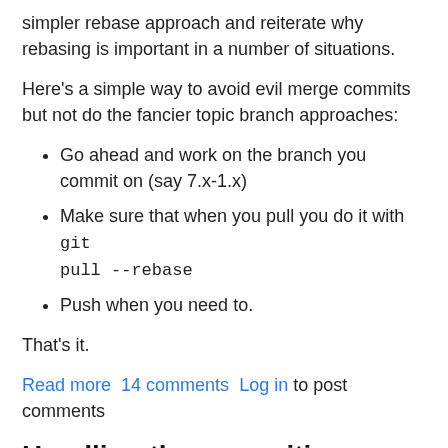simpler rebase approach and reiterate why rebasing is important in a number of situations.
Here's a simple way to avoid evil merge commits but not do the fancier topic branch approaches:
Go ahead and work on the branch you commit on (say 7.x-1.x)
Make sure that when you pull you do it with git pull --rebase
Push when you need to.
That's it.
Read more  14 comments  Log in to post comments
Handling the new .gitignore file in D7 and D8